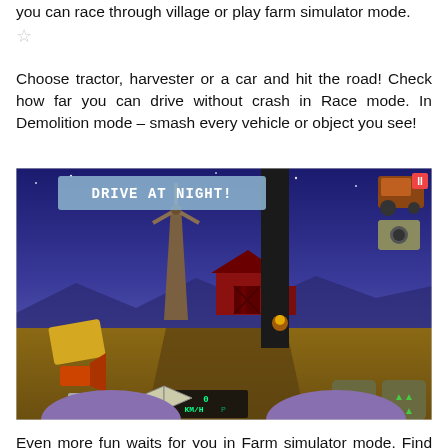you can race through village or play farm simulator mode.
☆
Choose tractor, harvester or a car and hit the road! Check how far you can drive without crash in Race mode. In Demolition mode – smash every vehicle or object you see!
[Figure (screenshot): Game screenshot showing a farm driving game at night. The UI overlay reads 'DRIVE AT NIGHT!' in the top left. The scene shows a barn, windmill, and dark sky. The player's vehicle dashboard and hands are visible in the foreground with speed indicator showing 0 KM/H. Various HUD elements including navigation buttons, inventory icons, and a pause button (II) are visible.]
Even more fun waits for you in Farm simulator mode. Find huge map, cities, fields and cute animals! Become real blocky farmer and grow your farm! … or just relax and start